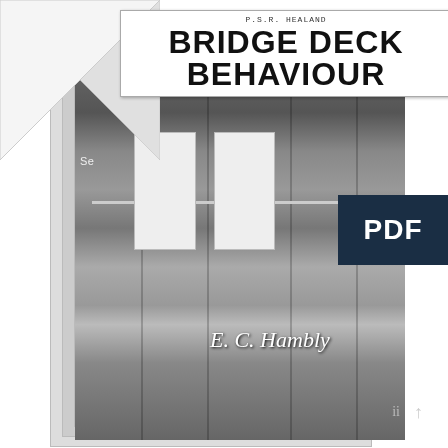[Figure (photo): Book cover of 'Bridge Deck Behaviour' by E.C. Hambly. The cover shows a black and white photograph of a bridge structure with piers and deck. There is a folded corner effect at the top left. A handwritten note 'P.S.R. HEALAND' appears above the title. The cover has a stacked pages effect suggesting multiple book copies. A PDF watermark badge appears in the upper right area. The author name 'E. C. Hambly' appears in italic white text in the lower right of the cover.]